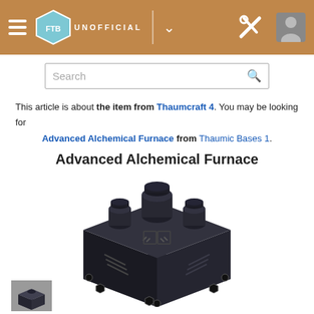UNOFFICIAL wiki header with search bar
This article is about the item from Thaumcraft 4. You may be looking for Advanced Alchemical Furnace from Thaumic Bases 1.
Advanced Alchemical Furnace
[Figure (illustration): 3D isometric render of the Advanced Alchemical Furnace block, a dark metallic machine with multiple cylindrical ports/vents on top and sides]
[Figure (photo): Small thumbnail image of the Advanced Alchemical Furnace]